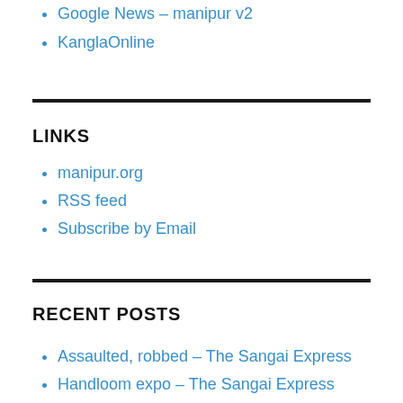Google News – manipur v2
KanglaOnline
LINKS
manipur.org
RSS feed
Subscribe by Email
RECENT POSTS
Assaulted, robbed – The Sangai Express
Handloom expo – The Sangai Express